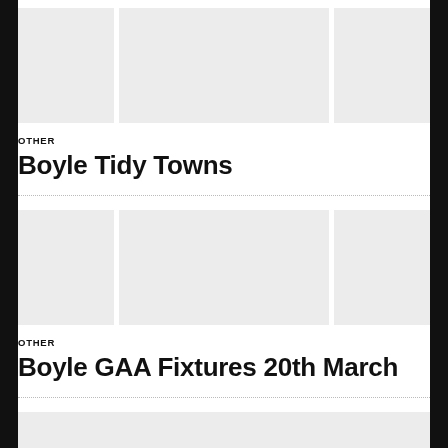[Figure (photo): Three placeholder image panels arranged horizontally for Boyle Tidy Towns article]
OTHER
Boyle Tidy Towns
[Figure (photo): Three placeholder image panels arranged horizontally for Boyle GAA Fixtures article]
OTHER
Boyle GAA Fixtures 20th March
[Figure (photo): Partial bottom image strip placeholder]